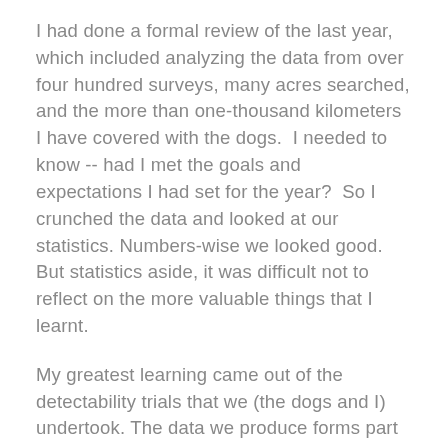I had done a formal review of the last year, which included analyzing the data from over four hundred surveys, many acres searched, and the more than one-thousand kilometers I have covered with the dogs.  I needed to know -- had I met the goals and expectations I had set for the year?  So I crunched the data and looked at our statistics. Numbers-wise we looked good. But statistics aside, it was difficult not to reflect on the more valuable things that I learnt.
My greatest learning came out of the detectability trials that we (the dogs and I) undertook. The data we produce forms part of statistical modelling, so it is important to know our detectability rates. We also need to achieve high detection...